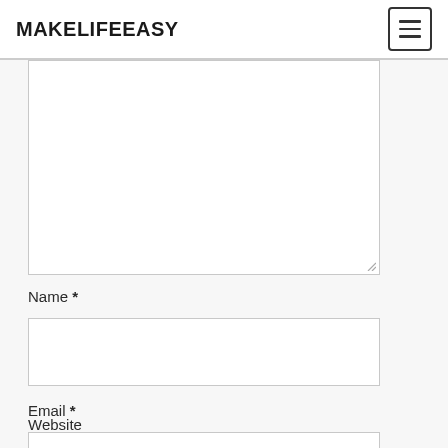MAKELIFEEASY
[Figure (screenshot): Comment textarea (empty, resizable)]
Name *
[Figure (screenshot): Name input field (empty)]
Email *
[Figure (screenshot): Email input field (empty)]
Website
[Figure (screenshot): Website input field (empty, partially visible)]